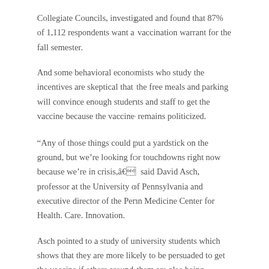Collegiate Councils, investigated and found that 87% of 1,112 respondents want a vaccination warrant for the fall semester.
And some behavioral economists who study the incentives are skeptical that the free meals and parking will convince enough students and staff to get the vaccine because the vaccine remains politicized.
“Any of those things could put a yardstick on the ground, but we’re looking for touchdowns right now because we’re in crisis,â said David Asch, professor at the University of Pennsylvania and executive director of the Penn Medicine Center for Health. Care. Innovation.
Asch pointed to a study of university students which shows that they are more likely to be persuaded to get the vaccine if others around them are also being vaccinated, the so-called “bandwagon.” .